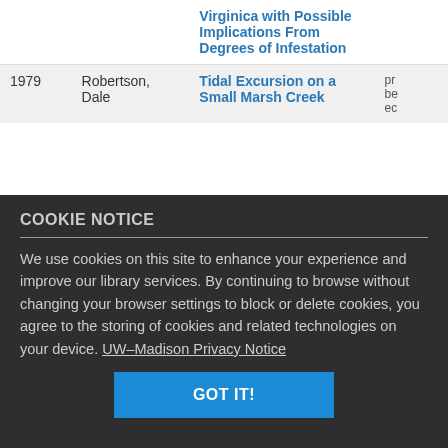| Year | Author | Title |  |
| --- | --- | --- | --- |
|  |  | Virginica with Possible Implications From Degrees of Infestation |  |
| 1979 | Robertson, Dale | Tidal Excursion on a Small Marsh Creek | pr be ec |
COOKIE NOTICE
We use cookies on this site to enhance your experience and improve our library services. By continuing to browse without changing your browser settings to block or delete cookies, you agree to the storing of cookies and related technologies on your device. UW–Madison Privacy Notice